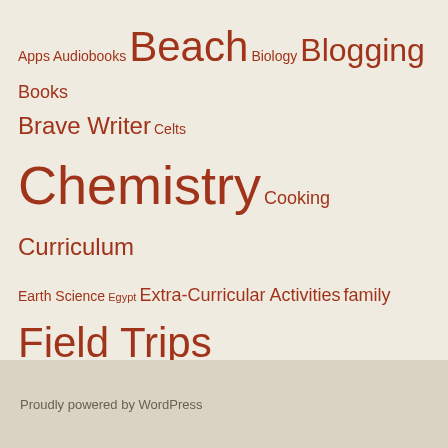[Figure (infographic): Tag cloud with education/homeschool blog tags in varying sizes, all in dark red/brown color on beige background. Tags include Apps, Audiobooks, Beach, Biology, Blogging, Books, Brave Writer, Celts, Chemistry, Cooking, Curriculum, Earth Science, Egypt, Extra-Curricular Activities, family, Field Trips, grade 1, grade 2, grade 3, grade 4, Grade 5, Grade 6, Grade 7, grammar, Happiness, history, Homeschool Help, introversion, meditation, Michael Neill, Norway, organisation, parenting, Physics, poetry, tea, pond study, seasons, sensory processing disorder, Spain, summer, Unschooling, vacations, values, Week In My Life, writing]
Proudly powered by WordPress